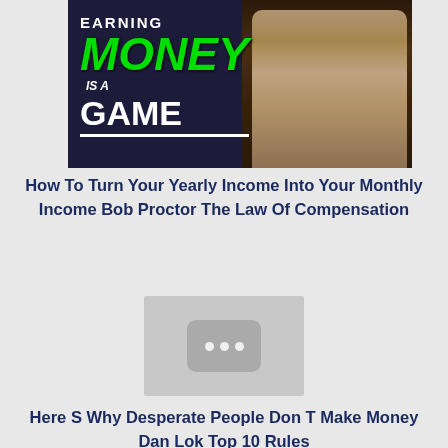[Figure (screenshot): Video thumbnail showing 'EARNING MONEY IS A GAME' text with green styled MONEY text and a person in background with bookshelves]
How To Turn Your Yearly Income Into Your Monthly Income Bob Proctor The Law Of Compensation
[Figure (screenshot): Gray video placeholder thumbnail with three dots icon in center]
Here S Why Desperate People Don T Make Money Dan Lok Top 10 Rules